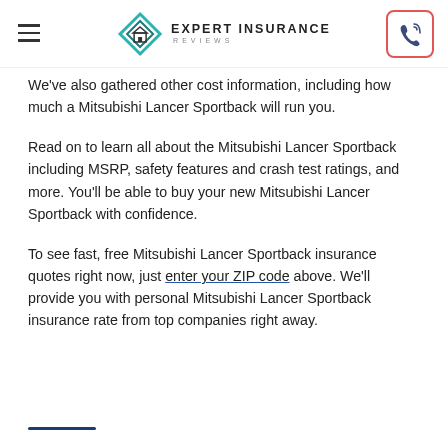Expert Insurance Reviews
We've also gathered other cost information, including how much a Mitsubishi Lancer Sportback will run you.
Read on to learn all about the Mitsubishi Lancer Sportback including MSRP, safety features and crash test ratings, and more. You'll be able to buy your new Mitsubishi Lancer Sportback with confidence.
To see fast, free Mitsubishi Lancer Sportback insurance quotes right now, just enter your ZIP code above. We'll provide you with personal Mitsubishi Lancer Sportback insurance rate from top companies right away.